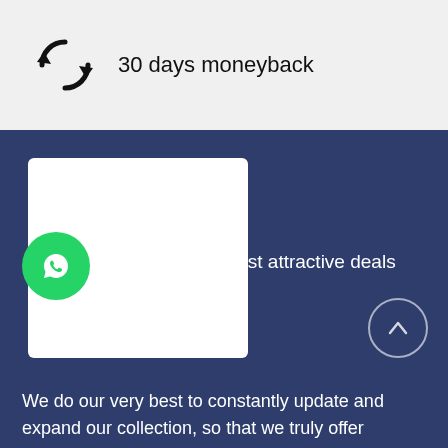[Figure (infographic): Refresh/return arrows icon next to '30 days moneyback' text on a light grey background]
30 days moneyback
[Figure (photo): Blurred/redacted white rectangle on dark blue background, likely a product image]
[Figure (logo): WhatsApp green circle icon]
n offer you the most attractive deals
ble anywhere.
We do our very best to constantly update and
expand our collection, so that we truly offer